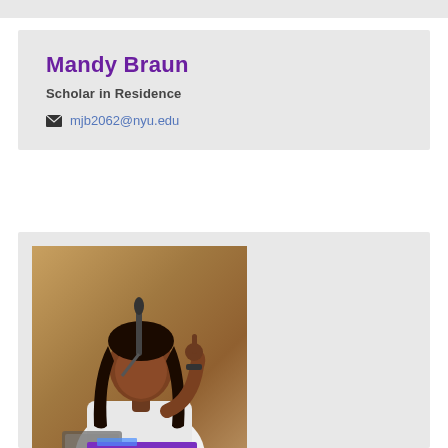Mandy Braun
Scholar in Residence
mjb2062@nyu.edu
[Figure (photo): Photo of Mandy Braun speaking at a podium with a microphone, raising one finger, with long brown hair and a white jacket, in front of a brownish background. A purple podium is visible at the bottom.]